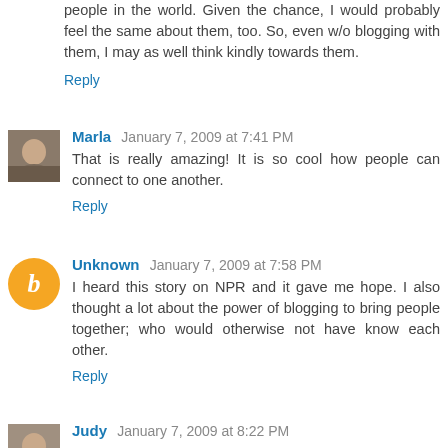people in the world. Given the chance, I would probably feel the same about them, too. So, even w/o blogging with them, I may as well think kindly towards them.
Reply
Marla  January 7, 2009 at 7:41 PM
That is really amazing! It is so cool how people can connect to one another.
Reply
Unknown  January 7, 2009 at 7:58 PM
I heard this story on NPR and it gave me hope. I also thought a lot about the power of blogging to bring people together; who would otherwise not have know each other.
Reply
Judy  January 7, 2009 at 8:22 PM